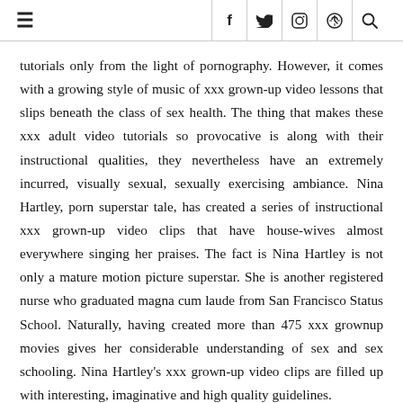≡  f  𝑡  🖼  ⊕  🔍
tutorials only from the light of pornography. However, it comes with a growing style of music of xxx grown-up video lessons that slips beneath the class of sex health. The thing that makes these xxx adult video tutorials so provocative is along with their instructional qualities, they nevertheless have an extremely incurred, visually sexual, sexually exercising ambiance. Nina Hartley, porn superstar tale, has created a series of instructional xxx grown-up video clips that have house-wives almost everywhere singing her praises. The fact is Nina Hartley is not only a mature motion picture superstar. She is another registered nurse who graduated magna cum laude from San Francisco Status School. Naturally, having created more than 475 xxx grownup movies gives her considerable understanding of sex and sex schooling. Nina Hartley's xxx grown-up video clips are filled up with interesting, imaginative and high quality guidelines.